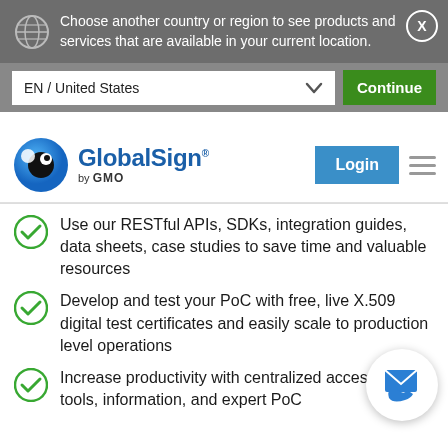Choose another country or region to see products and services that are available in your current location.
EN / United States
Continue
[Figure (logo): GlobalSign by GMO logo — blue circular eye icon with white pupil, blue bold text 'GlobalSign' with registered mark, and 'by GMO' below in dark text]
Login
Use our RESTful APIs, SDKs, integration guides, data sheets, case studies to save time and valuable resources
Develop and test your PoC with free, live X.509 digital test certificates and easily scale to production level operations
Increase productivity with centralized access to tools, information, and expert PoC
[Figure (illustration): Contact/communication bubble icon with envelope and phone icons on white circular background]